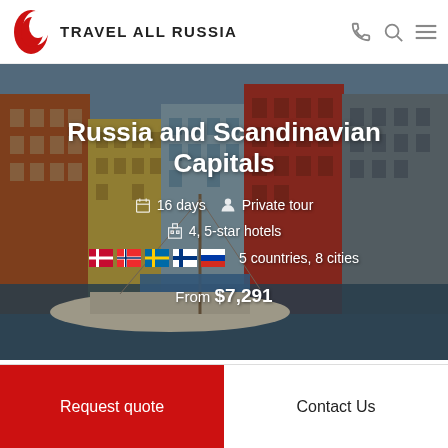[Figure (logo): Travel All Russia logo with red flame/moon icon and uppercase text TRAVEL ALL RUSSIA]
[Figure (photo): Hero image of colorful Scandinavian waterfront buildings (Nyhavn, Copenhagen) with a boat in foreground, overlaid with tour details text]
Russia and Scandinavian Capitals
16 days   Private tour
4, 5-star hotels
5 countries, 8 cities
From $7,291
Request quote
Contact Us